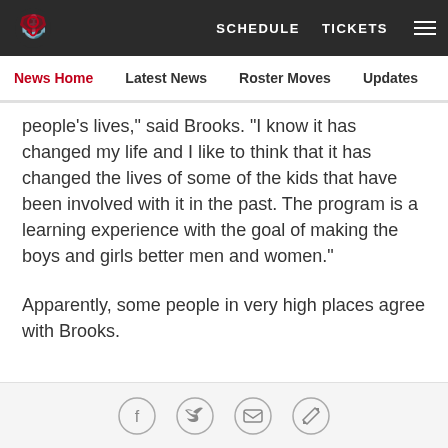SCHEDULE  TICKETS  ☰
News Home  Latest News  Roster Moves  Updates  SS Mailbag
people's lives," said Brooks. "I know it has changed my life and I like to think that it has changed the lives of some of the kids that have been involved with it in the past. The program is a learning experience with the goal of making the boys and girls better men and women."
Apparently, some people in very high places agree with Brooks.
This article has been reproduced in a new format and may be missing content or contain faulty links. Please use the Contact Us link in our site
[Figure (other): Social sharing icons: Facebook, Twitter, Email, Link]